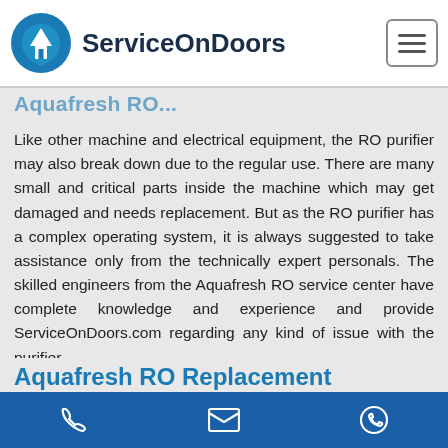ServiceOnDoors
Aquafresh RO Replacement
Like other machine and electrical equipment, the RO purifier may also break down due to the regular use. There are many small and critical parts inside the machine which may get damaged and needs replacement. But as the RO purifier has a complex operating system, it is always suggested to take assistance only from the technically expert personals. The skilled engineers from the Aquafresh RO service center have complete knowledge and experience and provide ServiceOnDoors.com regarding any kind of issue with the purifier.
Aquafresh RO Replacement
Phone | Email | WhatsApp